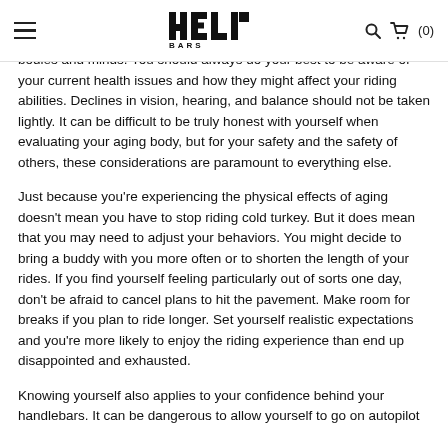HELI BARS
bodies and minds. You should always do your best to be aware of your current health issues and how they might affect your riding abilities. Declines in vision, hearing, and balance should not be taken lightly. It can be difficult to be truly honest with yourself when evaluating your aging body, but for your safety and the safety of others, these considerations are paramount to everything else.
Just because you're experiencing the physical effects of aging doesn't mean you have to stop riding cold turkey. But it does mean that you may need to adjust your behaviors. You might decide to bring a buddy with you more often or to shorten the length of your rides. If you find yourself feeling particularly out of sorts one day, don't be afraid to cancel plans to hit the pavement. Make room for breaks if you plan to ride longer. Set yourself realistic expectations and you're more likely to enjoy the riding experience than end up disappointed and exhausted.
Knowing yourself also applies to your confidence behind your handlebars. It can be dangerous to allow yourself to go on autopilot